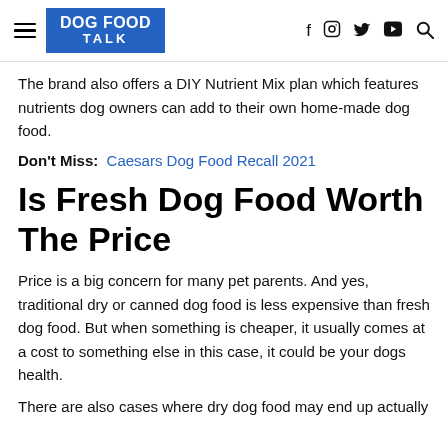DOG FOOD TALK
The brand also offers a DIY Nutrient Mix plan which features nutrients dog owners can add to their own home-made dog food.
Don't Miss:  Caesars Dog Food Recall 2021
Is Fresh Dog Food Worth The Price
Price is a big concern for many pet parents. And yes, traditional dry or canned dog food is less expensive than fresh dog food. But when something is cheaper, it usually comes at a cost to something else in this case, it could be your dogs health.
There are also cases where dry dog food may end up actually